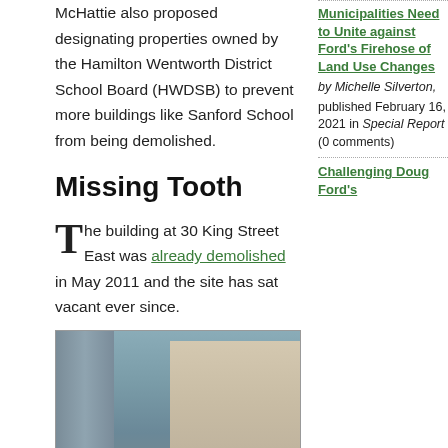McHattie also proposed designating properties owned by the Hamilton Wentworth District School Board (HWDSB) to prevent more buildings like Sanford School from being demolished.
Missing Tooth
The building at 30 King Street East was already demolished in May 2011 and the site has sat vacant ever since.
[Figure (photo): Photograph of a multi-storey brick building with 'STUDIO 33' painted on it, next to a modern glass building, with bare trees in the foreground.]
Municipalities Need to Unite against Ford's Firehose of Land Use Changes
by Michelle Silverton, published February 16, 2021 in Special Report (0 comments)
Challenging Doug Ford's